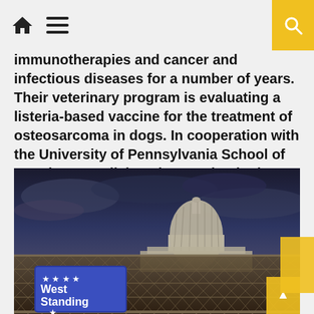Home | Menu | Search
immunotherapies and cancer and infectious diseases for a number of years. Their veterinary program is evaluating a listeria-based vaccine for the treatment of osteosarcoma in dogs. In cooperation with the University of Pennsylvania School of Veterinary Medicine, they are beginning clinical trials with the listeria-based vaccine. Listeria [...]
[Figure (photo): Photograph of the U.S. Capitol building dome visible behind a chain-link fence with a blue 'West Standing' sign with stars on it, taken at dusk with dramatic clouds overhead.]